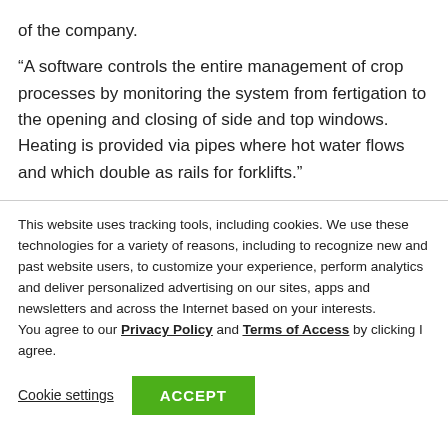of the company.
“A software controls the entire management of crop processes by monitoring the system from fertigation to the opening and closing of side and top windows. Heating is provided via pipes where hot water flows and which double as rails for forklifts.”
This website uses tracking tools, including cookies. We use these technologies for a variety of reasons, including to recognize new and past website users, to customize your experience, perform analytics and deliver personalized advertising on our sites, apps and newsletters and across the Internet based on your interests. You agree to our Privacy Policy and Terms of Access by clicking I agree.
Cookie settings | ACCEPT